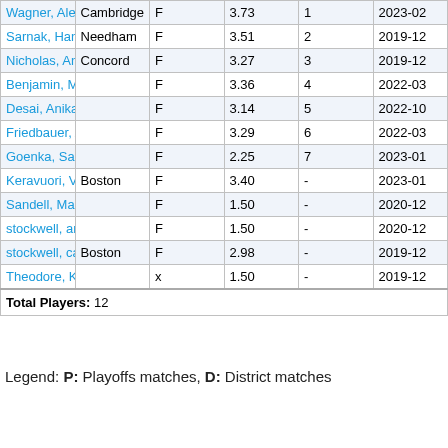| Name | City | Type | Score | Rank | Date |
| --- | --- | --- | --- | --- | --- |
| Wagner, Alexandra | Cambridge | F | 3.73 | 1 | 2023-02 |
| Sarnak, Hannah | Needham | F | 3.51 | 2 | 2019-12 |
| Nicholas, Anna | Concord | F | 3.27 | 3 | 2019-12 |
| Benjamin, Maya |  | F | 3.36 | 4 | 2022-03 |
| Desai, Anika L |  | F | 3.14 | 5 | 2022-10 |
| Friedbauer, Anji |  | F | 3.29 | 6 | 2022-03 |
| Goenka, Sanya |  | F | 2.25 | 7 | 2023-01 |
| Keravuori, Vivien | Boston | F | 3.40 | - | 2023-01 |
| Sandell, Maia |  | F | 1.50 | - | 2020-12 |
| stockwell, annie |  | F | 1.50 | - | 2020-12 |
| stockwell, camille | Boston | F | 2.98 | - | 2019-12 |
| Theodore, Keesha |  | x | 1.50 | - | 2019-12 |
Total Players: 12
Legend: P: Playoffs matches, D: District matches